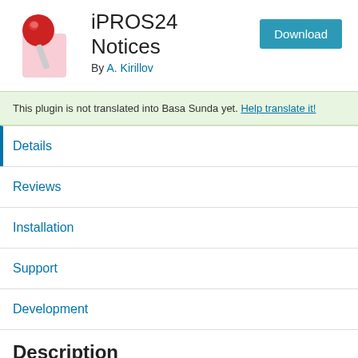[Figure (logo): Red pushpin/thumbtack icon with pink shadow on white background]
iPROS24 Notices
By A. Kirillov
Download
This plugin is not translated into Basa Sunda yet. Help translate it!
Details
Reviews
Installation
Support
Development
Description
Allows to show notices on a WordPress site